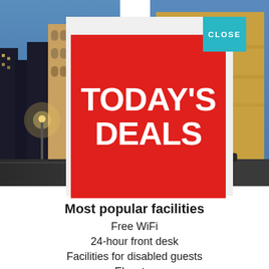[Figure (photo): Background photo showing city buildings at night on the left and a yellow ornate building facade on the right]
[Figure (infographic): Red square banner with bold white text reading TODAY'S DEALS]
CLOSE
Most popular facilities
Free WiFi
24-hour front desk
Facilities for disabled guests
Elevator
Heating
Air conditioning